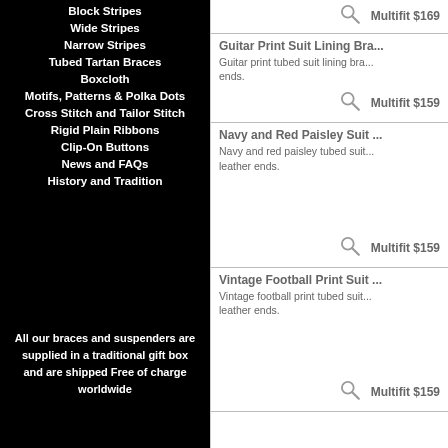Block Stripes
Wide Stripes
Narrow Stripes
Tubed Tartan Braces
Boxcloth
Motifs, Patterns & Polka Dots
Cross Stitch and Tailor Stitch
Rigid Plain Ribbons
Clip-On Buttons
News and FAQs
History and Tradition
All our braces and suspenders are supplied in a traditional gift box and are shipped Free of charge worldwide
Multifit $169
Guitar Print Suit Lining Bra...
Guitar print tubed suit lining bra... ends.
Multifit $159
Navy and Red Paisley Suit ...
Navy and red paisley tubed suit... leather ends.
Multifit $159
Vintage Football Print Suit ...
Vintage football print tubed suit... leather ends.
Multifit $159